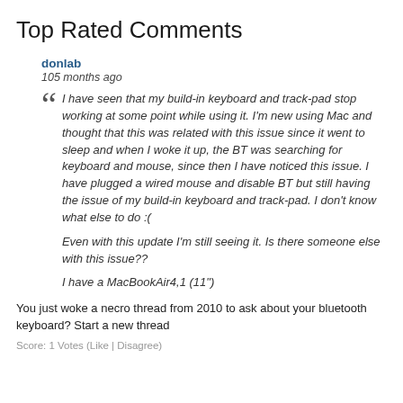Top Rated Comments
donlab
105 months ago
I have seen that my build-in keyboard and track-pad stop working at some point while using it. I'm new using Mac and thought that this was related with this issue since it went to sleep and when I woke it up, the BT was searching for keyboard and mouse, since then I have noticed this issue. I have plugged a wired mouse and disable BT but still having the issue of my build-in keyboard and track-pad. I don't know what else to do :(

Even with this update I'm still seeing it. Is there someone else with this issue??

I have a MacBookAir4,1 (11")
You just woke a necro thread from 2010 to ask about your bluetooth keyboard? Start a new thread
Score: 1 Votes (Like | Disagree)